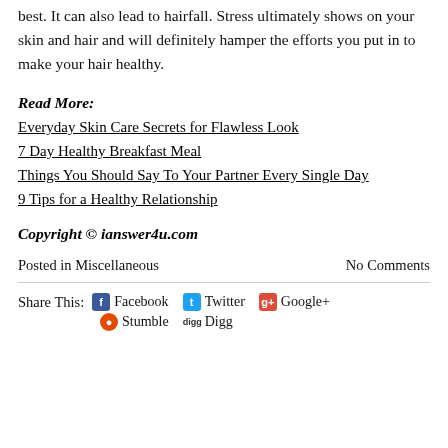best. It can also lead to hairfall. Stress ultimately shows on your skin and hair and will definitely hamper the efforts you put in to make your hair healthy.
Read More:
Everyday Skin Care Secrets for Flawless Look
7 Day Healthy Breakfast Meal
Things You Should Say To Your Partner Every Single Day
9 Tips for a Healthy Relationship
Copyright © ianswer4u.com
Posted in Miscellaneous    No Comments
Share This: Facebook Twitter Google+ Stumble Digg